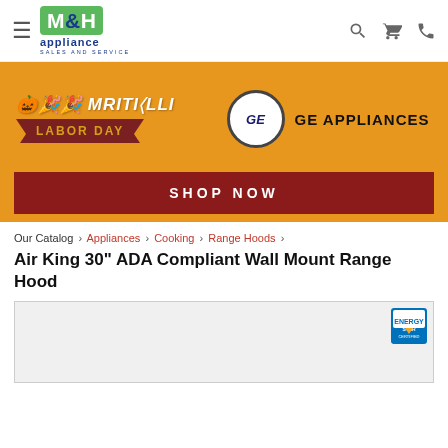M&H appliance SALES AND SERVICE
[Figure (infographic): M&H Appliance Labor Day sale banner featuring GE Appliances logo on orange background with SHOP NOW button]
Our Catalog › Appliances › Cooking › Range Hoods
Air King 30" ADA Compliant Wall Mount Range Hood
[Figure (photo): Product image area with Energy Star logo in top right corner]